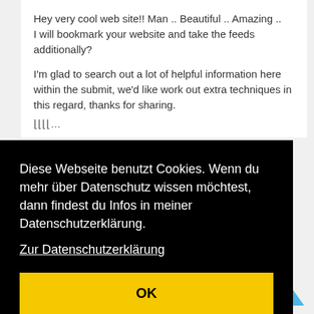Hey very cool web site!! Man .. Beautiful .. Amazing .. I will bookmark your website and take the feeds additionally?
I'm glad to search out a lot of helpful information here within the submit, we'd like work out extra techniques in this regard, thanks for sharing.
Diese Webseite benutzt Cookies. Wenn du mehr über Datenschutz wissen möchtest, dann findest du Infos in meiner Datenschutzerklärung.
Zur Datenschutzerklärung
OK